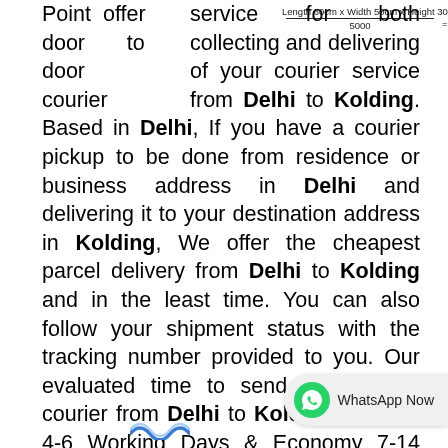Point offer door to door courier service for both collecting and delivering of your courier service from Delhi to Kolding. Based in Delhi, If you have a courier pickup to be done from residence or business address in Delhi and delivering it to your destination address in Kolding, We offer the cheapest parcel delivery from Delhi to Kolding and in the least time. You can also follow your shipment status with the tracking number provided to you. Our evaluated time to send international courier from Delhi to Kolding Express 4-6 Working Days & Economy 7-14 Working Days* (Delivery subject to clearance)